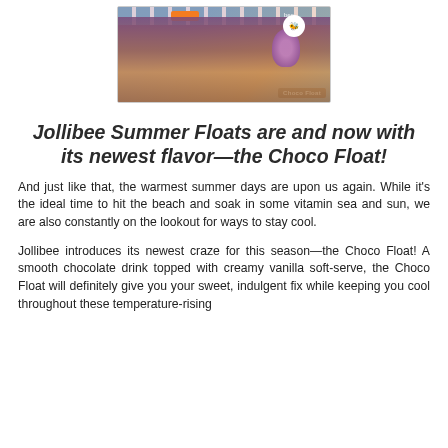[Figure (photo): Photo of Jollibee Choco Float drink with label 'Choco Float', purple-colored cup with Jollibee mascot, on a striped blue and white surface with wooden table background]
Jollibee Summer Floats are and now with its newest flavor—the Choco Float!
And just like that, the warmest summer days are upon us again. While it's the ideal time to hit the beach and soak in some vitamin sea and sun, we are also constantly on the lookout for ways to stay cool.
Jollibee introduces its newest craze for this season—the Choco Float! A smooth chocolate drink topped with creamy vanilla soft-serve, the Choco Float will definitely give you your sweet, indulgent fix while keeping you cool throughout these temperature-rising